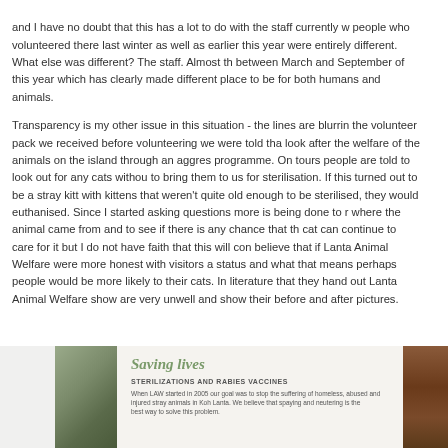and I have no doubt that this has a lot to do with the staff currently w people who volunteered there last winter as well as earlier this year were entirely different. What else was different? The staff. Almost th between March and September of this year which has clearly made different place to be for both humans and animals.
Transparency is my other issue in this situation - the lines are blurrin the volunteer pack we received before volunteering we were told tha look after the welfare of the animals on the island through an aggres programme. On tours people are told to look out for any cats withou to bring them to us for sterilisation. If this turned out to be a stray kit with kittens that weren't quite old enough to be sterilised, they would euthanised. Since I started asking questions more is being done to r where the animal came from and to see if there is any chance that th cat can continue to care for it but I do not have faith that this will con believe that if Lanta Animal Welfare were more honest with visitors a status and what that means perhaps people would be more likely to their cats. In literature that they hand out Lanta Animal Welfare show are very unwell and show their before and after pictures.
[Figure (photo): A partial view of a Lanta Animal Welfare informational leaflet showing 'Saving lives' heading in green italic text, 'STERILIZATIONS AND RABIES VACCINES' subheading, and small text about LAW's goals. Flanked by photos on left and right sides.]